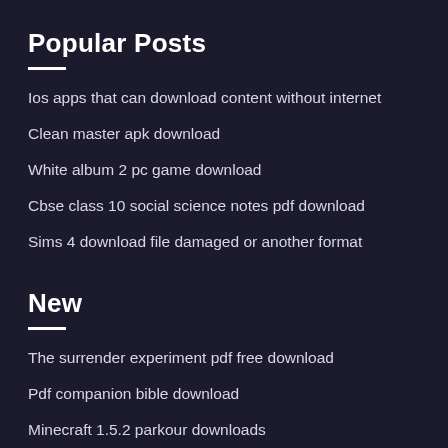Popular Posts
Ios apps that can download content without internet
Clean master apk download
White album 2 pc game download
Cbse class 10 social science notes pdf download
Sims 4 download file damaged or another format
New
The surrender experiment pdf free download
Pdf companion bible download
Minecraft 1.5.2 parkour downloads
Microsoft office for free download full version
Behringer xenyx 302usb driver download mac